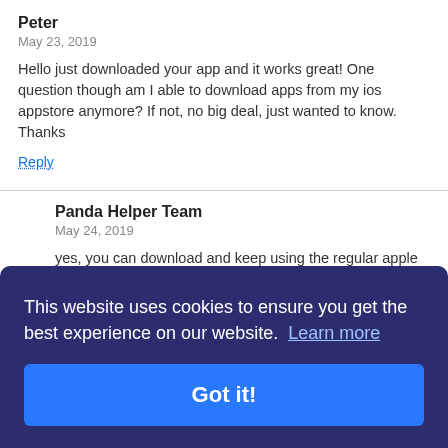Peter
May 23, 2019
Hello just downloaded your app and it works great! One question though am I able to download apps from my ios appstore anymore? If not, no big deal, just wanted to know. Thanks
Reply
Panda Helper Team
May 24, 2019
yes, you can download and keep using the regular apple appstore.
Reply
button , game ,
Reply
This website uses cookies to ensure you get the best experience on our website.  Learn more
Got it!